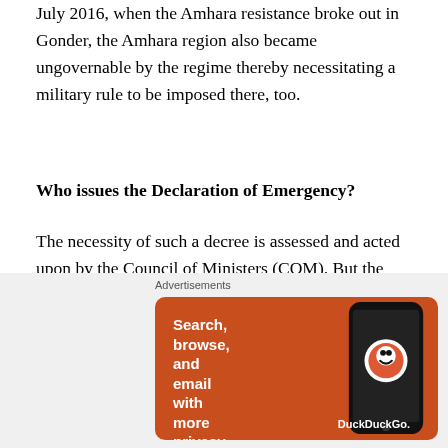July 2016, when the Amhara resistance broke out in Gonder, the Amhara region also became ungovernable by the regime thereby necessitating a military rule to be imposed there, too.
Who issues the Declaration of Emergency?
The necessity of such a decree is assessed and acted upon by the Council of Ministers (COM). But the COM is not the only institution that has a sole authority on the management of emergency situation. The power to declare emergency is shared between the Executive and the Legislature. According to art 93(2), owing to the
[Figure (screenshot): DuckDuckGo advertisement banner on orange background with text 'Search, browse, and email with more privacy. All in One Free App' and a phone image showing DuckDuckGo app]